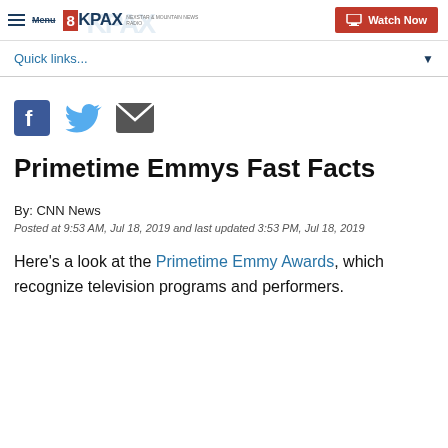Menu | 8KPAX | Watch Now
Quick links...
[Figure (illustration): Social share icons: Facebook (blue square with f), Twitter (blue bird), Email (grey envelope)]
Primetime Emmys Fast Facts
By: CNN News
Posted at 9:53 AM, Jul 18, 2019 and last updated 3:53 PM, Jul 18, 2019
Here's a look at the Primetime Emmy Awards, which recognize television programs and performers.